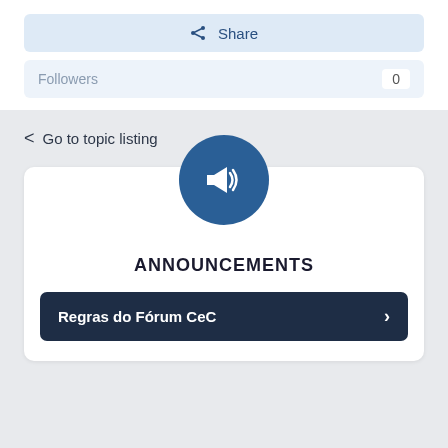Share
Followers 0
< Go to topic listing
[Figure (illustration): Blue circle icon with white megaphone/bullhorn symbol]
ANNOUNCEMENTS
Regras do Fórum CeC